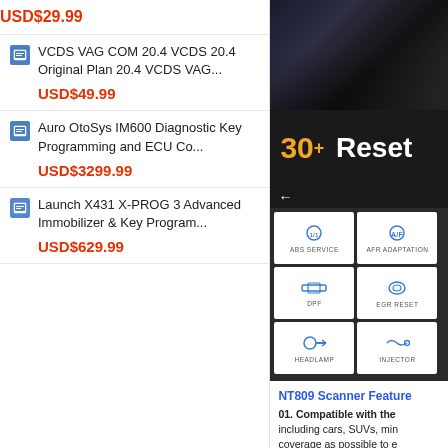USD$29.99
VCDS VAG COM 20.4 VCDS 20.4 Original Plan 20.4 VCDS VAG... USD$49.99
Auro OtoSys IM600 Diagnostic Key Programming and ECU Co... USD$3299.99
Launch X431 X-PROG 3 Advanced Immobilizer & Key Program... USD$629.99
[Figure (screenshot): Automotive scanner interface showing 30+ Reset functions menu with icons for ABS SERVICE, AFR ADAPTATION, DPF, EGR RESET, HEADLAMP, INJECTOR, and partial other icons on dark background]
NT809 Scanner Feature
01. Compatible with the including cars, SUVs, min coverage as possible to e American, Asian and Euro
02. Access to Multiple C